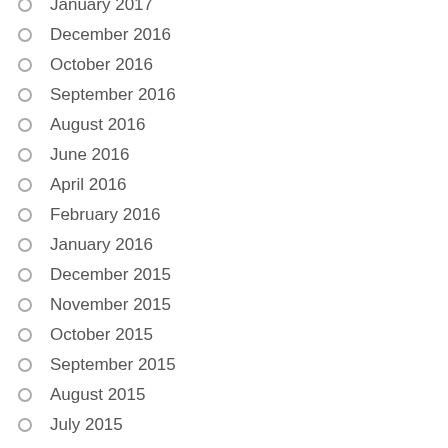January 2017
December 2016
October 2016
September 2016
August 2016
June 2016
April 2016
February 2016
January 2016
December 2015
November 2015
October 2015
September 2015
August 2015
July 2015
June 2015
May 2015
April 2015